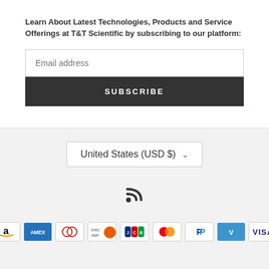Learn About Latest Technologies, Products and Service Offerings at T&T Scientific by subscribing to our platform:
[Figure (screenshot): Email address input field with placeholder text 'Email address']
[Figure (screenshot): Subscribe button with dark background and white text 'SUBSCRIBE']
[Figure (screenshot): Currency selector showing 'United States (USD $)' with dropdown arrow]
[Figure (logo): RSS feed icon]
[Figure (logo): Payment icons: Amazon, American Express, Diners Club, Discover, JCB, Mastercard, PayPal, Venmo, Visa]